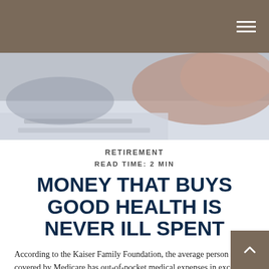[Figure (photo): Header bar with hamburger menu icon on dark taupe/brown background, and a hero photo showing a person's hands near papers on a desk, slightly blurred]
RETIREMENT
READ TIME: 2 MIN
MONEY THAT BUYS GOOD HEALTH IS NEVER ILL SPENT
According to the Kaiser Family Foundation, the average person covered by Medicare has out-of-pocket medical expenses in excess of $5,400 a year. Premium costs